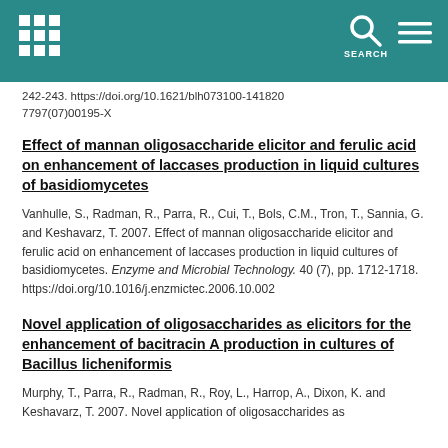SEARCH (navigation header with grid icon, search icon, menu icon)
242-243. https://doi.org/10.1621/blh073100-141820 7797(07)00195-X
Effect of mannan oligosaccharide elicitor and ferulic acid on enhancement of laccases production in liquid cultures of basidiomycetes
Vanhulle, S., Radman, R., Parra, R., Cui, T., Bols, C.M., Tron, T., Sannia, G. and Keshavarz, T. 2007. Effect of mannan oligosaccharide elicitor and ferulic acid on enhancement of laccases production in liquid cultures of basidiomycetes. Enzyme and Microbial Technology. 40 (7), pp. 1712-1718. https://doi.org/10.1016/j.enzmictec.2006.10.002
Novel application of oligosaccharides as elicitors for the enhancement of bacitracin A production in cultures of Bacillus licheniformis
Murphy, T., Parra, R., Radman, R., Roy, L., Harrop, A., Dixon, K. and Keshavarz, T. 2007. Novel application of oligosaccharides as